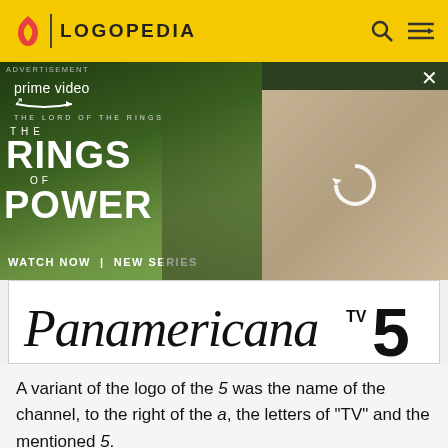LOGOPEDIA
[Figure (screenshot): Amazon Prime Video advertisement for 'The Lord of the Rings: The Rings of Power' - Watch Now | New Series]
[Figure (logo): Panamericana TV logo with stylized script text and number 5]
A variant of the logo of the 5 was the name of the channel, to the right of the a, the letters of "TV" and the mentioned 5.
1967–1979
1967–1970